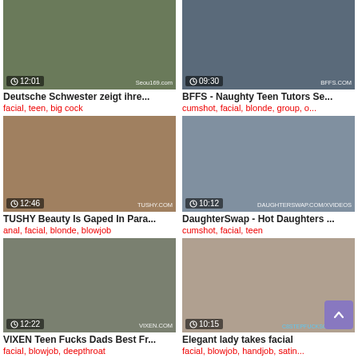[Figure (screenshot): Video thumbnail grid showing 6 adult video thumbnails with titles and tags]
Deutsche Schwester zeigt ihre...
facial, teen, big cock
BFFS - Naughty Teen Tutors Se...
cumshot, facial, blonde, group, o...
TUSHY Beauty Is Gaped In Para...
anal, facial, blonde, blowjob
DaughterSwap - Hot Daughters ...
cumshot, facial, teen
VIXEN Teen Fucks Dads Best Fr...
facial, blowjob, deepthroat
Elegant lady takes facial
facial, blowjob, handjob, satin...